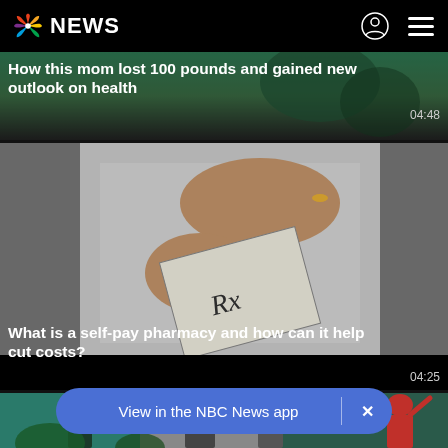NBC NEWS
[Figure (screenshot): Background news thumbnail showing outdoor scene for story about mom losing 100 pounds]
How this mom lost 100 pounds and gained new outlook on health
04:48
[Figure (photo): Close-up of hands in white lab coat holding an Rx prescription envelope — pharmacy related image]
What is a self-pay pharmacy and how can it help cut costs?
04:25
[Figure (photo): Crowd of people in a public space, partial view at bottom of page]
View in the NBC News app